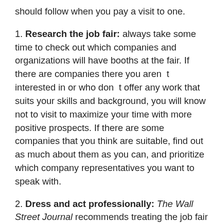should follow when you pay a visit to one.
1. Research the job fair: always take some time to check out which companies and organizations will have booths at the fair. If there are companies there you aren’t interested in or who don’t offer any work that suits your skills and background, you will know not to visit to maximize your time with more positive prospects. If there are some companies that you think are suitable, find out as much about them as you can, and prioritize which company representatives you want to speak with.
2. Dress and act professionally: The Wall Street Journal recommends treating the job fair like a job interview. That is, dress (business attire) and act like you would for an interview, and do the sort of preparation you would do before one. It is also common for recruiters to put you through a proto-interview when you talk to them, so it is important to be prepared. These can also